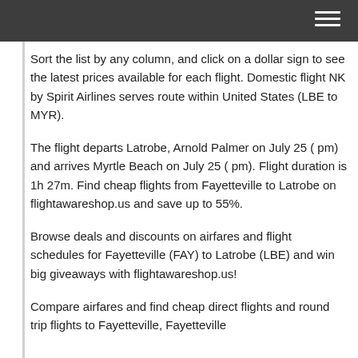Sort the list by any column, and click on a dollar sign to see the latest prices available for each flight. Domestic flight NK by Spirit Airlines serves route within United States (LBE to MYR).
The flight departs Latrobe, Arnold Palmer on July 25 ( pm) and arrives Myrtle Beach on July 25 ( pm). Flight duration is 1h 27m. Find cheap flights from Fayetteville to Latrobe on flightawareshop.us and save up to 55%.
Browse deals and discounts on airfares and flight schedules for Fayetteville (FAY) to Latrobe (LBE) and win big giveaways with flightawareshop.us!
Compare airfares and find cheap direct flights and round trip flights to Fayetteville, Fayetteville